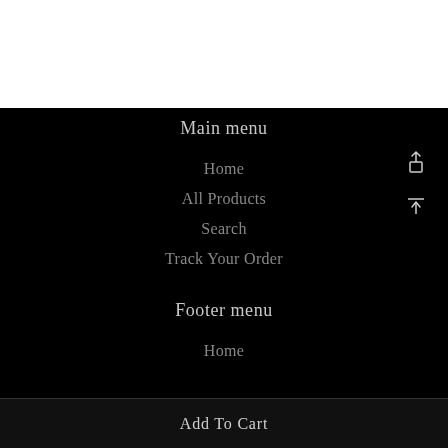Main menu
Home
All Products
Search
Track Your Order
Footer menu
Home
Add To Cart